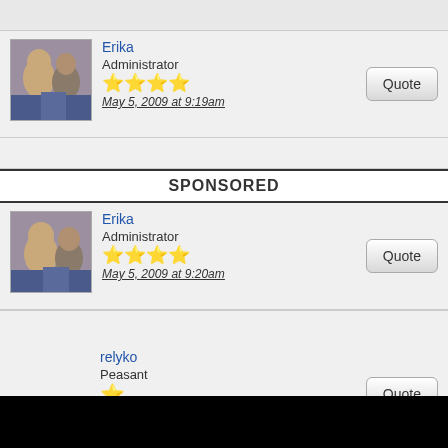[Figure (screenshot): Forum post by Erika (Administrator) with avatar, 4 stars, dated May 5, 2009 at 9:19am, with Quote button]
SPONSORED
[Figure (screenshot): Forum post by Erika (Administrator) with avatar, 4 stars, dated May 5, 2009 at 9:20am, with Quote button]
[Figure (screenshot): Forum post by relyko (Peasant) with 1 star, dated May 8, 2009 at 5:12am, with Quote button]